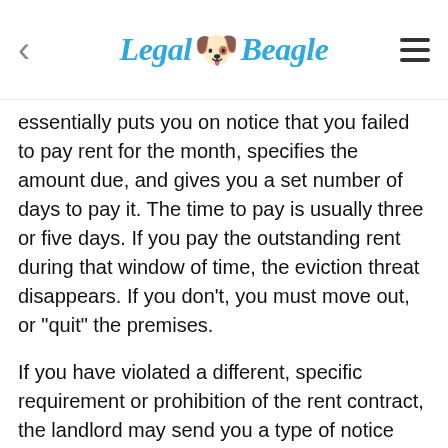Legal Beagle
essentially puts you on notice that you failed to pay rent for the month, specifies the amount due, and gives you a set number of days to pay it. The time to pay is usually three or five days. If you pay the outstanding rent during that window of time, the eviction threat disappears. If you don't, you must move out, or "quit" the premises.
If you have violated a different, specific requirement or prohibition of the rent contract, the landlord may send you a type of notice called a "cure or quit" notice. These are exactly what the names suggest. They are written notice that you are violating a specific provision in the agreement and that you